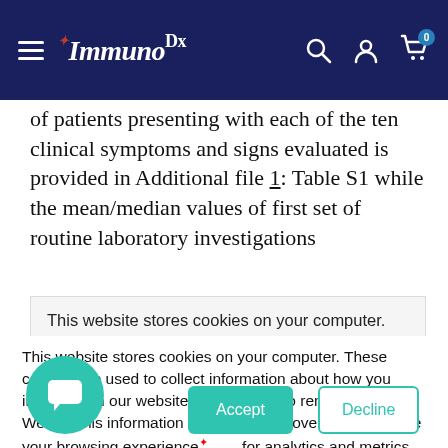ImmunoDx
of patients presenting with each of the ten clinical symptoms and signs evaluated is provided in Additional file 1: Table S1 while the mean/median values of first set of routine laboratory investigations
This website stores cookies on your computer. These
This website stores cookies on your computer. These cookies are used to collect information about how you interact with our website and allow us to remember you. We use this information in order to improve and customize your browsing experience and for analytics and metrics about our visitors both on this website and other media. To find out more about the cookies we use, see our Cookie Policy. If you decline, your information won't be tracked when you visit this website. A single cookie will be used in your browser to remember your preference not to be tracked.
Got any questions? I'm happy to help.
Accept
Decline